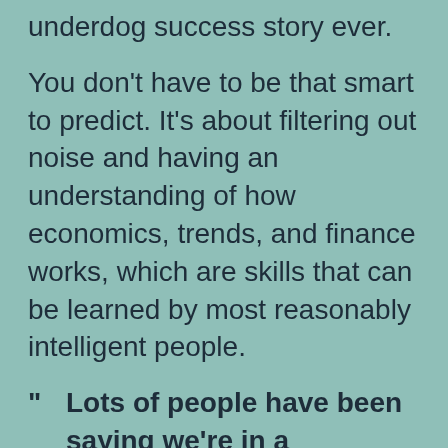…story is probably the greatest political underdog success story ever.
You don't have to be that smart to predict. It's about filtering out noise and having an understanding of how economics, trends, and finance works, which are skills that can be learned by most reasonably intelligent people.
" Lots of people have been saying we're in a technology bubble for a number of years now. While this IPO performance certainly doesn't look like a bubble, if there was a bubble, the bursting of it has been outsourced from the private owners of